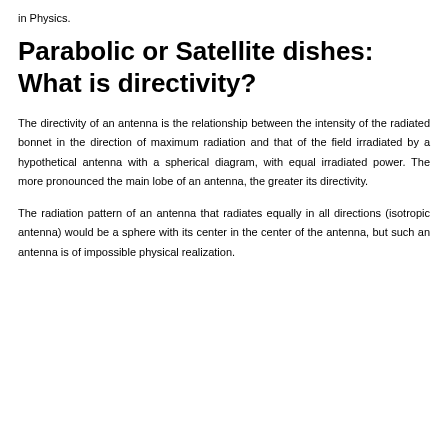in Physics.
Parabolic or Satellite dishes: What is directivity?
The directivity of an antenna is the relationship between the intensity of the radiated bonnet in the direction of maximum radiation and that of the field irradiated by a hypothetical antenna with a spherical diagram, with equal irradiated power. The more pronounced the main lobe of an antenna, the greater its directivity.
The radiation pattern of an antenna that radiates equally in all directions (isotropic antenna) would be a sphere with its center in the center of the antenna, but such an antenna is of impossible physical realization.